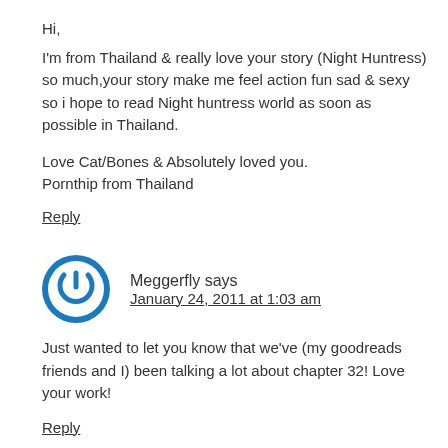Hi,
I'm from Thailand & really love your story (Night Huntress) so much,your story make me feel action fun sad & sexy so i hope to read Night huntress world as soon as possible in Thailand.

Love Cat/Bones & Absolutely loved you.
Pornthip from Thailand
Reply
Meggerfly says
January 24, 2011 at 1:03 am
Just wanted to let you know that we've (my goodreads friends and I) been talking a lot about chapter 32! Love your work!
Reply